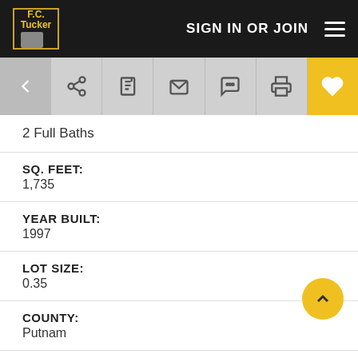F.C. Tucker — SIGN IN OR JOIN
2 Full Baths
SQ. FEET:
1,735
YEAR BUILT:
1997
LOT SIZE:
0.35
COUNTY:
Putnam
TOWNSHIP:
Floyd
SCHOOL SYSTEM: